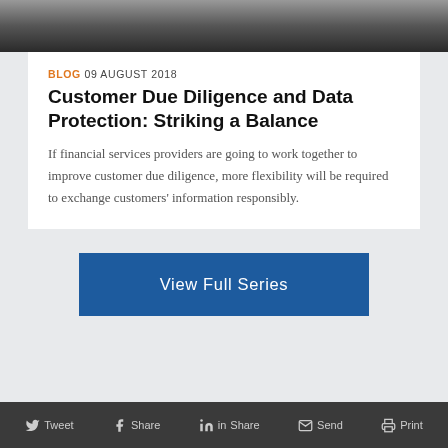[Figure (photo): Black and white photo strip at the top of the page, partially visible]
BLOG 09 AUGUST 2018
Customer Due Diligence and Data Protection: Striking a Balance
If financial services providers are going to work together to improve customer due diligence, more flexibility will be required to exchange customers' information responsibly.
View Full Series
Tweet  Share  Share  Send  Print